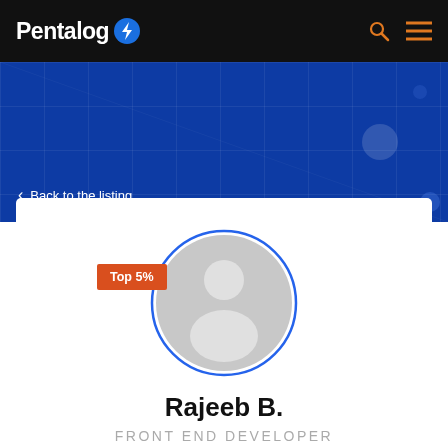Pentalog
Back to the listing
[Figure (photo): Circular placeholder profile avatar with blue border ring and orange Top 5% badge]
Rajeeb B.
FRONT END DEVELOPER